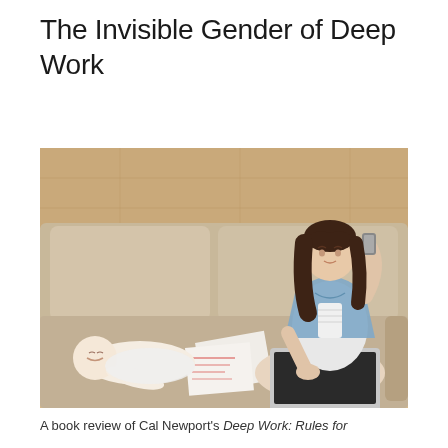The Invisible Gender of Deep Work
[Figure (photo): Overhead view of a woman sitting on a beige sofa talking on a phone while working on a laptop, with a sleeping baby lying beside her and papers scattered on the cushion.]
A book review of Cal Newport's Deep Work: Rules for